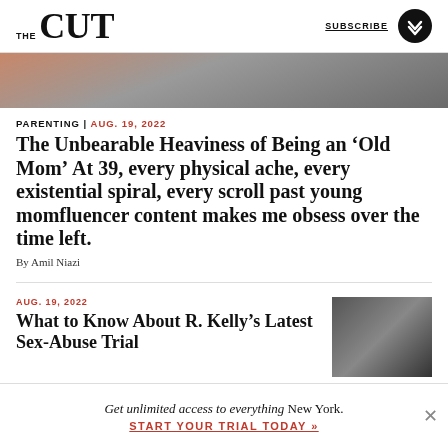THE CUT | SUBSCRIBE
[Figure (photo): Partial hero image showing textured surface with warm orange/grey tones, partially cut off at top]
PARENTING | AUG. 19, 2022
The Unbearable Heaviness of Being an ‘Old Mom’ At 39, every physical ache, every existential spiral, every scroll past young momfluencer content makes me obsess over the time left.
By Amil Niazi
AUG. 19, 2022
What to Know About R. Kelly’s Latest Sex-Abuse Trial
[Figure (photo): Black and white photo of a man wearing sunglasses and a cap, looking directly at camera]
Get unlimited access to everything New York. START YOUR TRIAL TODAY »